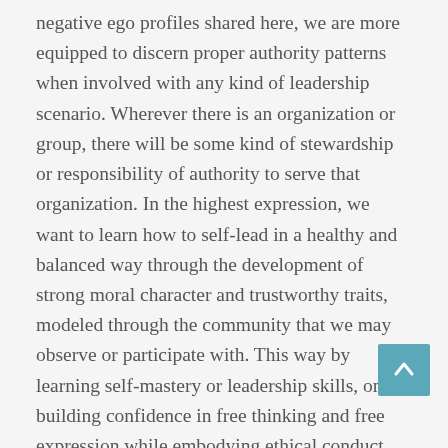negative ego profiles shared here, we are more equipped to discern proper authority patterns when involved with any kind of leadership scenario. Wherever there is an organization or group, there will be some kind of stewardship or responsibility of authority to serve that organization. In the highest expression, we want to learn how to self-lead in a healthy and balanced way through the development of strong moral character and trustworthy traits, modeled through the community that we may observe or participate with. This way by learning self-mastery or leadership skills, one is building confidence in free thinking and free expression while embodying ethical conduct necessary to be spiritually sovereign. Otherwise we are mind controlled puppets playing out repeated archetypes
[Figure (other): Teal/blue square scroll-to-top button with upward arrow icon, positioned at bottom right of page]